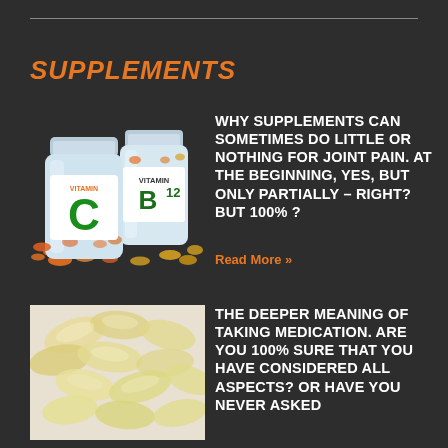SUPPLEMENTS
[Figure (illustration): Two vitamin supplement bottles labeled VITAMIN C and VITAMIN B12 with pills scattered around them]
WHY SUPPLEMENTS CAN SOMETIMES DO LITTLE OR NOTHING FOR JOINT PAIN. AT THE BEGINNING, YES, BUT ONLY PARTIALLY – RIGHT? BUT 100% ?
Read More »
[Figure (photo): Close-up photo of translucent gel capsule supplements piled together]
THE DEEPER MEANING OF TAKING MEDICATION. ARE YOU 100% SURE THAT YOU HAVE CONSIDERED ALL ASPECTS? OR HAVE YOU NEVER ASKED